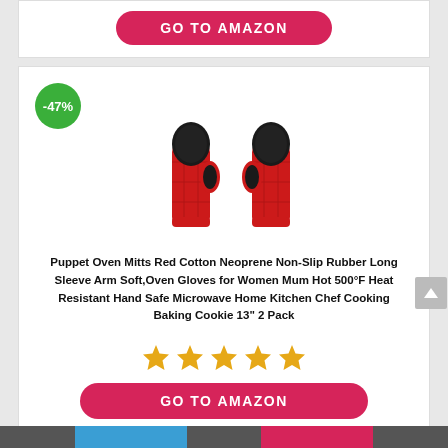[Figure (other): GO TO AMAZON button (pink/red rounded pill button)]
[Figure (photo): Two red quilted puppet-style oven mitts with black interior lining, standing upright, shown as a pair. A green circular badge with '-47%' discount is shown in the upper left corner.]
Puppet Oven Mitts Red Cotton Neoprene Non-Slip Rubber Long Sleeve Arm Soft,Oven Gloves for Women Mum Hot 500°F Heat Resistant Hand Safe Microwave Home Kitchen Chef Cooking Baking Cookie 13" 2 Pack
[Figure (other): 5-star rating displayed as five orange/gold star icons]
[Figure (other): GO TO AMAZON button (pink/red rounded pill button) at bottom]